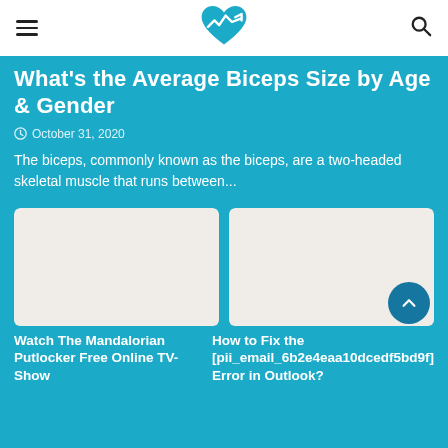What's the Average Biceps Size by Age & Gender
October 31, 2020
The biceps, commonly known as the biceps, are a two-headed skeletal muscle that runs between...
[Figure (photo): Placeholder image for Watch The Mandalorian Putlocker Free Online TV-Show article]
Watch The Mandalorian Putlocker Free Online TV-Show
[Figure (photo): Placeholder image for How to Fix the [pii_email_6b2e4eaa10dcedf5bd9f] Error in Outlook? article]
How to Fix the [pii_email_6b2e4eaa10dcedf5bd9f] Error in Outlook?